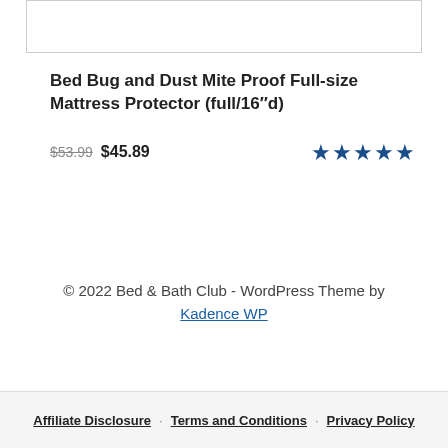[Figure (other): Product image placeholder box (white rectangle with border)]
Bed Bug and Dust Mite Proof Full-size Mattress Protector (full/16″d)
$53.99 $45.89 ★★★★★
© 2022 Bed & Bath Club - WordPress Theme by Kadence WP
Affiliate Disclosure · Terms and Conditions · Privacy Policy